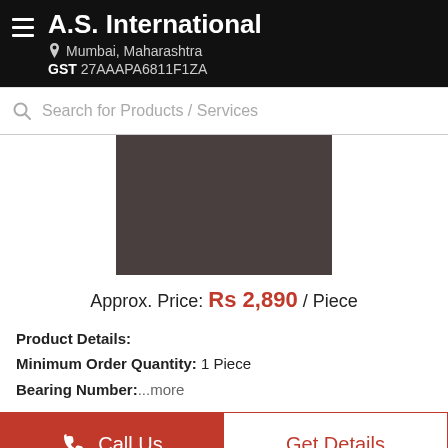A.S. International
Mumbai, Maharashtra
GST 27AAAPA6811F1ZA
Search for Products / Services
[Figure (photo): Product image placeholder - dark brownish-grey rectangle]
Approx. Price: Rs 2,890 / Piece
Product Details:
Minimum Order Quantity: 1 Piece
Bearing Number: ...more
Call Us
Get Details
GRRP50...Sliding Bearing...